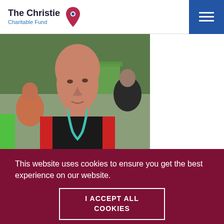The Christie Charitable Fund
[Figure (photo): A bald man wearing a black and red sleeveless athletic top with a teal/blue lanyard or medal around his neck, standing at what appears to be an outdoor sporting event with other people and tents visible in the background.]
This website uses cookies to ensure you get the best experience on our website.
I ACCEPT ALL COOKIES